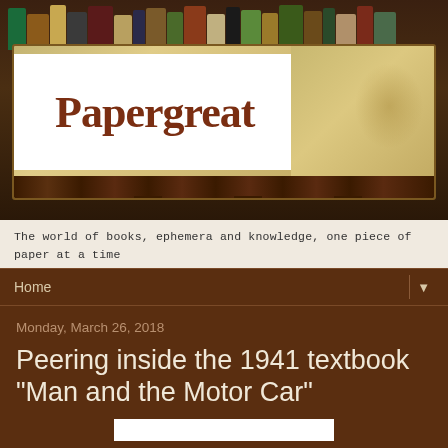[Figure (photo): Papergreat blog header showing a decorative sign with the word 'Papergreat' in serif font, mounted on what appears to be a bookshelf background with various book spines visible at the top.]
The world of books, ephemera and knowledge, one piece of paper at a time
Home
Monday, March 26, 2018
Peering inside the 1941 textbook "Man and the Motor Car"
[Figure (photo): A blurred or obscured rectangular image, appearing as a white rectangle (redacted/blurred book cover image)]
Man and the Motor Car (Revised) is a high school textbook